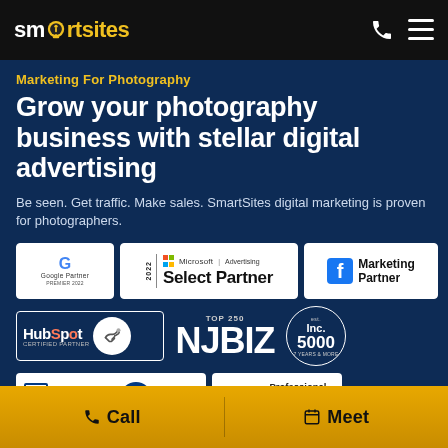SmartSites
Marketing For Photography
Grow your photography business with stellar digital advertising
Be seen. Get traffic. Make sales. SmartSites digital marketing is proven for photographers.
[Figure (logo): Row of partner badges: Google Partner, Microsoft Advertising Select Partner 2022, Facebook Marketing Partner]
[Figure (logo): Row of partner badges: HubSpot Certified Partner, NJBIZ Top 250, Inc. 5000]
[Figure (logo): Row of badges: BBB Accredited Business A+, GSA Professional Services Schedule]
Call | Meet